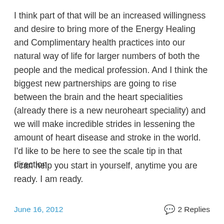I think part of that will be an increased willingness and desire to bring more of the Energy Healing and Complimentary health practices into our natural way of life for larger numbers of both the people and the medical profession. And I think the biggest new partnerships are going to rise between the brain and the heart specialities (already there is a new neuroheart speciality) and we will make incredible strides in lessening the amount of heart disease and stroke in the world. I’d like to be here to see the scale tip in that direction.
I can help you start in yourself, anytime you are ready. I am ready.
June 16, 2012    2 Replies